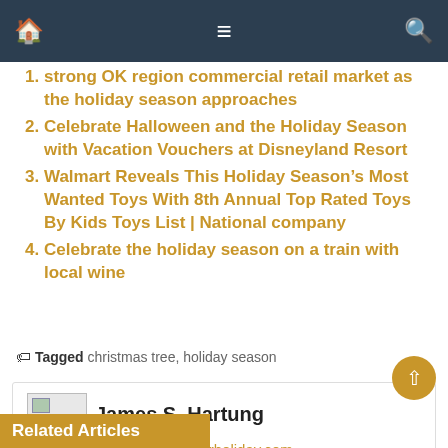Navigation bar with home, menu, and search icons
strong OK region commercial retail market as the holiday season approaches
Celebrate Halloween and the Holiday Season with Vacation Vouchers at Disneyland Resort
Walmart Reveals This Holiday Season’s Most Wanted Toys With 8th Annual Top Rated Toys By Kids Toys List | National company
Celebrate the holiday season on a train with local wine
Tagged christmas tree, holiday season
James S. Hartung
https://hrholiday.com
Related Articles